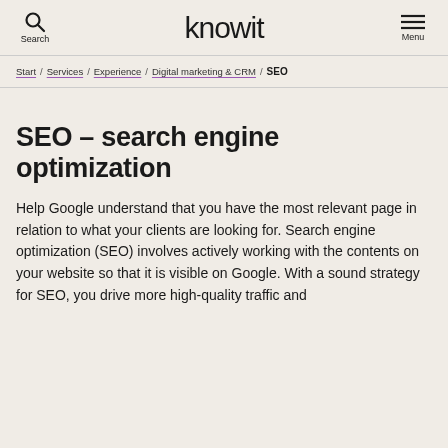Search  knowit  Menu
Start / Services / Experience / Digital marketing & CRM / SEO
SEO – search engine optimization
Help Google understand that you have the most relevant page in relation to what your clients are looking for. Search engine optimization (SEO) involves actively working with the contents on your website so that it is visible on Google. With a sound strategy for SEO, you drive more high-quality traffic and